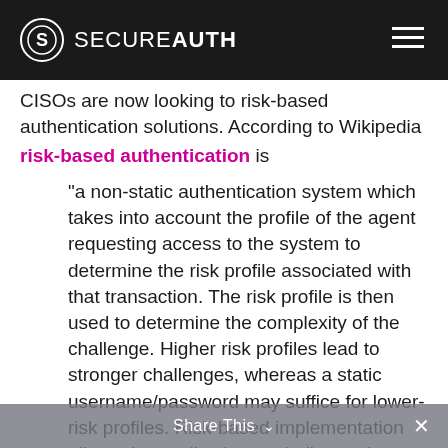SECUREAUTH
CISOs are now looking to risk-based authentication solutions. According to Wikipedia risk-based authentication is
“a non-static authentication system which takes into account the profile of the agent requesting access to the system to determine the risk profile associated with that transaction. The risk profile is then used to determine the complexity of the challenge. Higher risk profiles lead to stronger challenges, whereas a static username/password may suffice for lower-risk profiles. Risk-based implementation allows the application to challenge the user
Share This